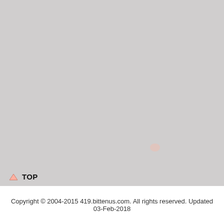[Figure (other): Large grey background area filling most of the page]
TOP
Copyright © 2004-2015 419.bittenus.com. All rights reserved. Updated 03-Feb-2018